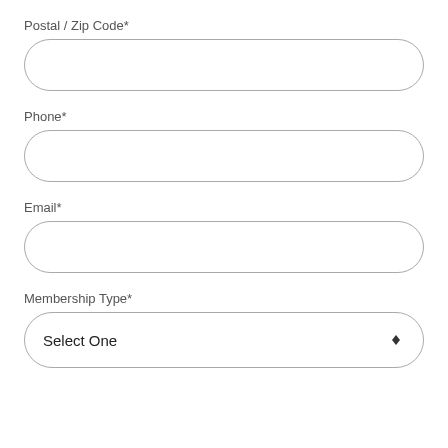Postal / Zip Code*
[Figure (other): Empty text input field with rounded border for Postal / Zip Code]
Phone*
[Figure (other): Empty text input field with rounded border for Phone]
Email*
[Figure (other): Empty text input field with rounded border for Email]
Membership Type*
[Figure (other): Dropdown select field showing 'Select One' with up/down arrow icon]